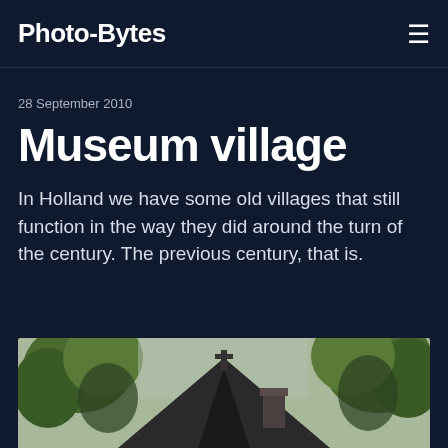Photo-Bytes
28 September 2010
Museum village
In Holland we have some old villages that still function in the way they did around the turn of the century. The previous century, that is.
[Figure (photo): Rooftop of an old building with a pointed gable and chimney, surrounded by green trees, viewed from below looking up.]